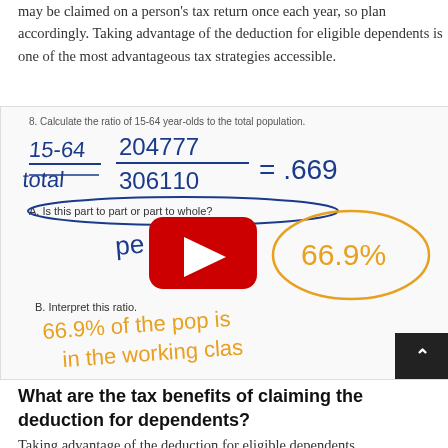may be claimed on a person's tax return once each year, so plan accordingly. Taking advantage of the deduction for eligible dependents is one of the most advantageous tax strategies accessible.
[Figure (screenshot): Screenshot of a handwritten math problem showing calculation of the ratio of 15-64 year-olds to total population: 204777/306110 = .669 = 66.9%. Includes a YouTube play button overlay. Part A asks if it is part to part or part to whole. Part B shows handwritten answer: '66.9% of the pop is in the working class'.]
What are the tax benefits of claiming the deduction for dependents?
Taking advantage of the deduction for eligible dependents